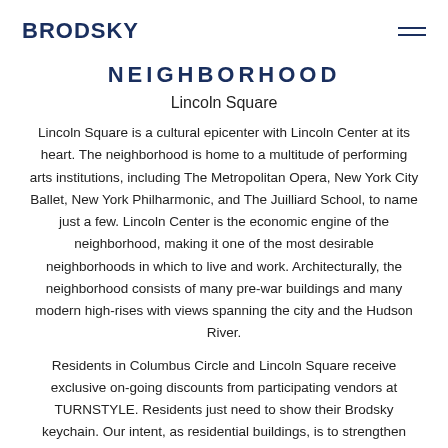BRODSKY
NEIGHBORHOOD
Lincoln Square
Lincoln Square is a cultural epicenter with Lincoln Center at its heart. The neighborhood is home to a multitude of performing arts institutions, including The Metropolitan Opera, New York City Ballet, New York Philharmonic, and The Juilliard School, to name just a few. Lincoln Center is the economic engine of the neighborhood, making it one of the most desirable neighborhoods in which to live and work. Architecturally, the neighborhood consists of many pre-war buildings and many modern high-rises with views spanning the city and the Hudson River.
Residents in Columbus Circle and Lincoln Square receive exclusive on-going discounts from participating vendors at TURNSTYLE. Residents just need to show their Brodsky keychain. Our intent, as residential buildings, is to strengthen